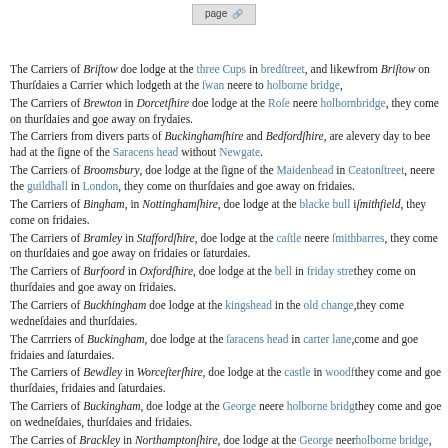page
The Carriers of Bristow doe lodge at the three Cups in bredstreet, and likewise from Bristow on Thursdaies a Carrier which lodgeth at the swan neere to holborne bridge,
The Carriers of Brewton in Dorcetshire doe lodge at the Rose neere holborne bridge, they come on thursdaies and goe away on frydaies.
The Carriers from divers parts of Buckinghamshire and Bedfordshire, are alwaies every day to bee had at the signe of the Saracens head without Newgate.
The Carriers of Broomsbury, doe lodge at the signe of the Maidenhead in Cheatonstreet, neere the guildhall in London, they come on thursdaies and goe away on fridaies.
The Carriers of Bingham, in Nottinghamshire, doe lodge at the blacke bull in smithfield, they come on fridaies.
The Carriers of Bramley in Staffordshiire, doe lodge at the castle neere smithfield barres, they come on thursdaies and goe away on fridaies or saturdaies.
The Carriers of Burfoord in Oxfordshire, doe lodge at the bell in friday street, they come on thursdaies and goe away on fridaies.
The Carriers of Buckhingham doe lodge at the kingshead in the old change, they come wednesdaies and thursdaies.
The Carrriers of Buckingham, doe lodge at the faracens head in carter lane, come and goe fridaies and saturdaies.
The Carriers of Bewdley in Worcestershire, doe lodge at the castle in woodfield, they come and goe thursdaies, fridaies and saturdaies.
The Carriers of Buckingham, doe lodge at the George neere holborne bridge, they come and goe on wednesdaies, thursdaies and fridaies.
The Carries of Brackley in Northamptonshire, doe lodge at the George neere holborne bridge, they come and goe on wednesdaies thursdaies and fridaies.
The Carriers of Banbury in Oxfordshire doe lodge at the George neere holborne bridge